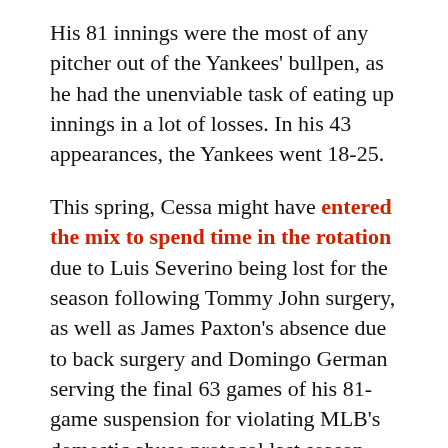His 81 innings were the most of any pitcher out of the Yankees' bullpen, as he had the unenviable task of eating up innings in a lot of losses. In his 43 appearances, the Yankees went 18-25.
This spring, Cessa might have entered the mix to spend time in the rotation due to Luis Severino being lost for the season following Tommy John surgery, as well as James Paxton's absence due to back surgery and Domingo German serving the final 63 games of his 81-game suspension for violating MLB's domestic abuse protocol last season.
But the coronavirus pandemic forced the shutdown of spring training and indefinite delay to the start of the regular season, meaning Paxton could be healthy by the time games are being played.
Cessa would then resume a valuable role in the bullpen,